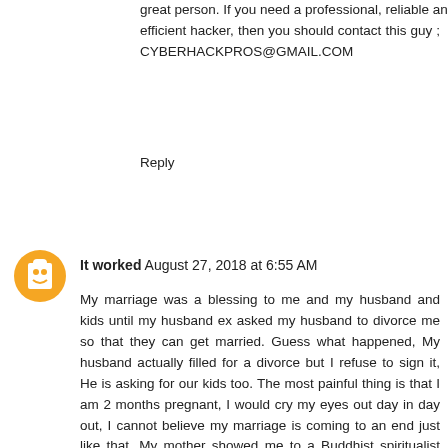great person. If you need a professional, reliable and efficient hacker, then you should contact this guy ; CYBERHACKPROS@GMAIL.COM
Reply
It worked  August 27, 2018 at 6:55 AM
My marriage was a blessing to me and my husband and kids until my husband ex asked my husband to divorce me so that they can get married. Guess what happened, My husband actually filled for a divorce but I refuse to sign it, He is asking for our kids too. The most painful thing is that I am 2 months pregnant, I would cry my eyes out day in day out, I cannot believe my marriage is coming to an end just like that. My mother showed me to a Buddhist spiritualist who came my rescue on this tragic situation that almost took my life because I was helpless. The Buddhist priest name is Priest Mika, He did a supernatural spell that brought my husband back to me that same day I met the priest Mika. Now my husband is pleading for us to get back. I need advice on this marital issue. Should I take him back? I do not want my kids to grow without their dad but...